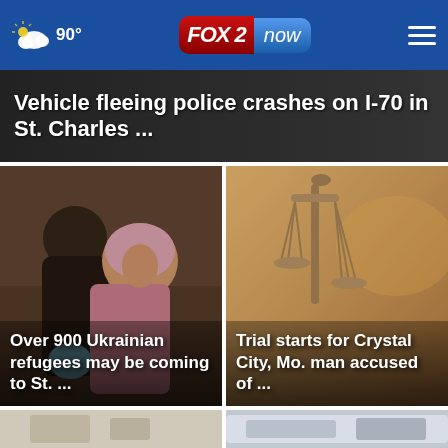FOX 2 now | 90°
Vehicle fleeing police crashes on I-70 in St. Charles ...
[Figure (photo): Two women, possibly Ukrainian refugees, looking downward outdoors]
Over 900 Ukrainian refugees may be coming to St. ...
[Figure (photo): Close-up of scales of justice statue in warm golden light]
Trial starts for Crystal City, Mo. man accused of ...
[Figure (photo): Partial bottom-left card image (cut off)]
[Figure (photo): Partial bottom-right card image with police vehicle (cut off)]